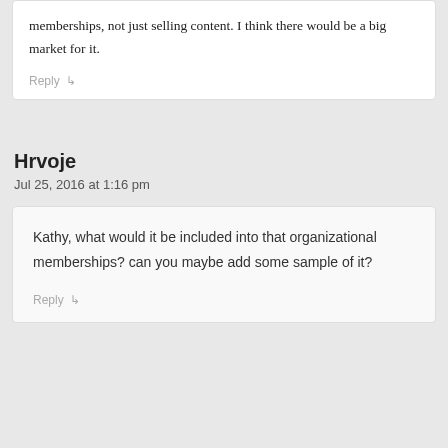memberships, not just selling content. I think there would be a big market for it.
Reply
Hrvoje
Jul 25, 2016 at 1:16 pm
Kathy, what would it be included into that organizational memberships? can you maybe add some sample of it?
Reply